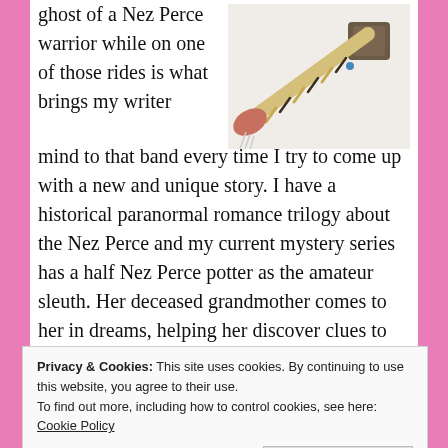ghost of a Nez Perce warrior while on one of those rides is what brings my writer mind to that band every time I try to come up with a new and unique story. I have a historical paranormal romance trilogy about the Nez Perce and my current mystery series has a half Nez Perce potter as the amateur sleuth. Her deceased grandmother comes to her in dreams, helping her discover clues to the murderers.
[Figure (photo): A hand holding a wrapped stick or tool with a stone head, resembling a Native American artifact or tomahawk, against a white wall background.]
Privacy & Cookies: This site uses cookies. By continuing to use this website, you agree to their use.
To find out more, including how to control cookies, see here: Cookie Policy
Close and accept
When our two oldest children were in grade